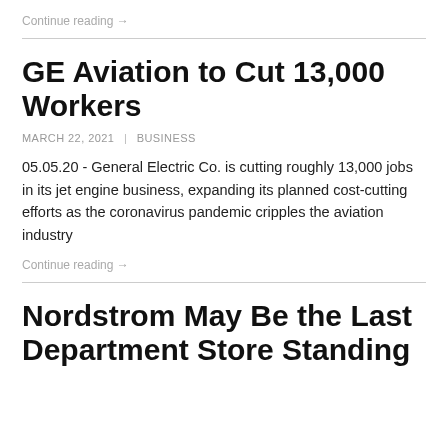Continue reading →
GE Aviation to Cut 13,000 Workers
MARCH 22, 2021 | BUSINESS
05.05.20 - General Electric Co. is cutting roughly 13,000 jobs in its jet engine business, expanding its planned cost-cutting efforts as the coronavirus pandemic cripples the aviation industry
Continue reading →
Nordstrom May Be the Last Department Store Standing